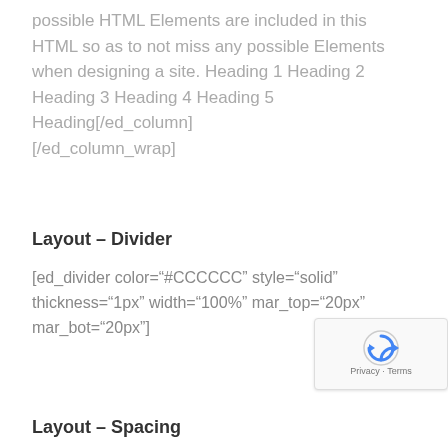possible HTML Elements are included in this HTML so as to not miss any possible Elements when designing a site. Heading 1 Heading 2 Heading 3 Heading 4 Heading 5 Heading[/ed_column] [/ed_column_wrap]
Layout – Divider
[ed_divider color="#CCCCCC" style="solid" thickness="1px" width="100%" mar_top="20px" mar_bot="20px"]
Layout – Spacing